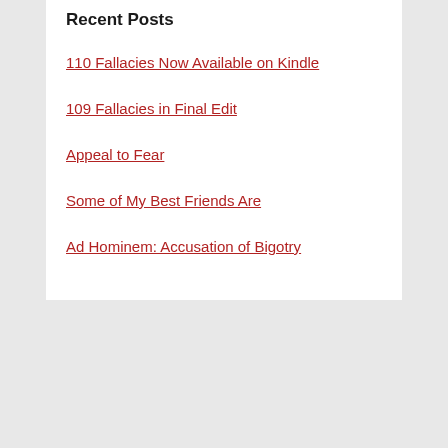Recent Posts
110 Fallacies Now Available on Kindle
109 Fallacies in Final Edit
Appeal to Fear
Some of My Best Friends Are
Ad Hominem: Accusation of Bigotry